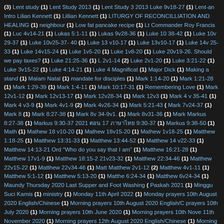(3) Lent study (1) Lent Study 2013 (1) Lent Study 3 2013 Luke 9v18-27 (1) Lent-an Intro Lilian Kennett (1) Lillian Kennett (1) LITURGY OF RECONCILLIATION AND HEALING (1) neighbour (1) Low fat pancake recipe (1) Lt Commander Roy Francis (1) Luc 4v14-21 (1) Lukas 5:1-11 (1) Lukas 9v28-36 (1) Luke 10 38-42 (1) Luke 10v 29-37 (1) Luke 10v25-37-40 (1) Luke 13 v10-17 (1) Luke 13v10-17 (1) Luke 14v 25-33 (1) Luke 14v15-24 (1) Luke 1v5-20 (1) Luke 1v8-20 (1) Luke 20v19-26. Should we pay taxes? (1) Luke 21:25-36 (1) Luke 2v1-14 (2) Luke 2v1-20 (1) Luke 3:21-22 (1) Luke 3v15-22 (1) Luke 4:14-21 (1) Luke 4 Magnificat (1) Major Dick (1) Making a stand (1) Malam Natal (1) mandate for disciples (1) Mark 1:14-20 (1) Mark 1:21-28 (1) Mark 1:29-39 (1) Mark 1:4-11 (1) Mark 10:17-31 (1) Remembering Love (1) Mark 12v1-12 (1) Mark 12v13-17 (1) Mark 12v28-34 (1) Mark 12v3 (1) Mark 4 v 35-41 (1) Mark 4 v3-9 (1) Mark 4v1-9 (2) Mark 4v26-34 (1) Mark 5:21-43 (1) Mark 7v24-37 (1) Mark 8 (1) Mark 8:27-38 (1) Mark 8v 34-9v1. (1) Mark 8v31-36 (1) Mark Markus 8:27-38 (1) Markus 9:30-37 2021 ตอน 17 ภาษาไทย 9:30-37 (1) Markus 9:38-50 (1) Math (1) Mathew 18 v10-20 (1) Mathew 18v15-20 (1) Mathew 1v18-25 (1) Matthew 1:18-25 (1) Matthew 13:31-33 (1) Matthew 13:44-52 (1) Matthew 14 v22-33 (1) Matthew 14:13-21 Ord "Who do you say that I am" (1) Matthew 16:21-28 (1) Matthew 17v1-9 (1) Matthew 18:15-2 21v23-32 (1) Matthew 22:34-46 (1) Matthew 22v15-22 (1) Matthew 22v34-46 (1) Matthew Matthew 2v1-12 (2) Matthew 4v1-11 (1) Matthew 5:1-12 (1) Matthew 5:13-20 (1) Matthew 6:24-34 (1) Matthew 6v24-34 (1) Maundy Thursday 2020 Last Supper and Foot Washing (1) Paskah 2021 (1) Minggu Suci Kamis (1) ministry (1) Monday 11th April 2022 (1) Monday prayers 10th August 2020 English/Chinese (1) Morning prayers 10th August 2020 English/C prayers 10th July 2020 (1) Morning prayers 10th June 2020 (1) Morning prayers 10th Nove 11th November 2020 (1) Morning prayers 12th August 2020 English/Chinese (1) Morning Morning prayers 13th August 2020 English/Chinese 晨祷2020年8月13日中文/普 (1) Morning prayers prayers 14th August 2020 English 晨祷2020年8月14日普 (1) Morning prayers 14th Aug